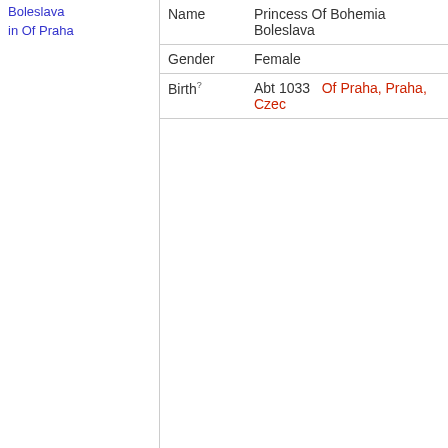Boleslava
in Of Praha
| Field | Value | Location |
| --- | --- | --- |
| Name | Princess Of Bohemia Boleslava |  |
| Gender | Female |  |
| Birth? | Abt 1033 | Of Praha, Praha, Czec |